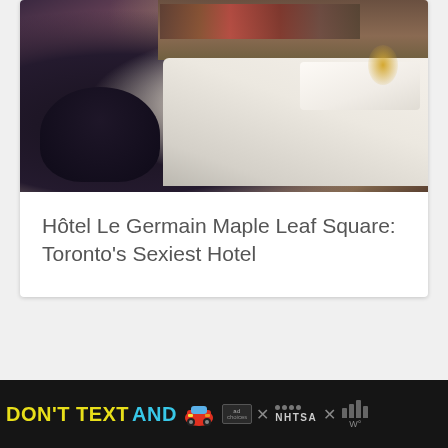[Figure (photo): Hotel room interior showing a large bed with white bedding, dark upholstered armchair/ottoman in foreground, wooden shelving/headboard with decorative items, warm ambient lighting]
Hôtel Le Germain Maple Leaf Square: Toronto's Sexiest Hotel
[Figure (photo): Hotel bathroom with a round jacuzzi/soaking tub, black faucet fixtures, white towels on rack at upper left, a small rubber duck on the tub edge, warm golden ambient lighting, dark curtains on right]
[Figure (screenshot): Advertisement banner: 'DON'T TEXT AND [car emoji]' with NHTSA branding, ad choice icon and close buttons, on dark background]